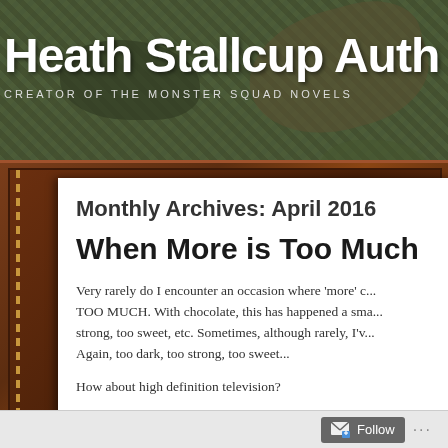Heath Stallcup Auth
CREATOR OF THE MONSTER SQUAD NOVELS
Monthly Archives: April 2016
When More is Too Much
Very rarely do I encounter an occasion where 'more' c... TOO MUCH. With chocolate, this has happened a sma... strong, too sweet, etc. Sometimes, although rarely, I'v... Again, too dark, too strong, too sweet...
How about high definition television?
Follow